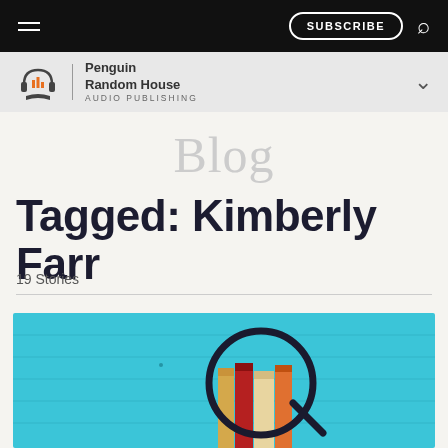≡  SUBSCRIBE 🔍
[Figure (logo): Penguin Random House Audio Publishing logo with headphone and book icon]
Blog
Tagged: Kimberly Farr
19 Stories
[Figure (photo): Books standing upright on a blue wooden background viewed through a magnifying glass]